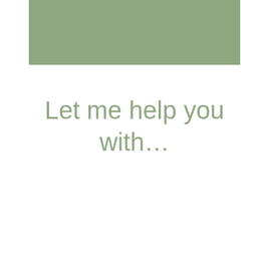[Figure (illustration): Muted sage green rectangular block spanning most of the upper width of the page]
Let me help you with…